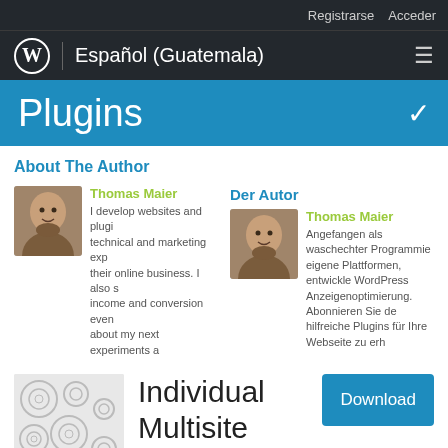Registrarse  Acceder
Español (Guatemala)
Plugins
About The Author
Thomas Maier
I develop websites and plugins that combine technical and marketing expertise to help businesses grow their online business. I also share tips about how to increase income and conversion even ... about my next experiments a
Der Autor
Thomas Maier
Angefangen als waschechter Programmierer eigene Plattformen, entwickle WordPress Anzeigenoptimierung. Abonnieren Sie den hilfreiche Plugins für Ihre Webseite zu erh
[Figure (illustration): Plugin icon with circular patterns on light gray background]
Individual Multisite Author
Download